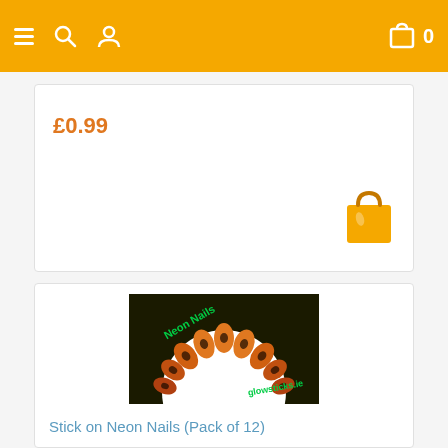Navigation bar with hamburger menu, search, user, cart (0)
£0.99
[Figure (screenshot): Orange shopping bag icon]
[Figure (photo): Product image: orange neon stick-on nails arranged in semicircle on black background with 'Neon Nails' and 'glowsticks.ie' text]
Stick on Neon Nails (Pack of 12)
£2.99  Only 2 left in stock